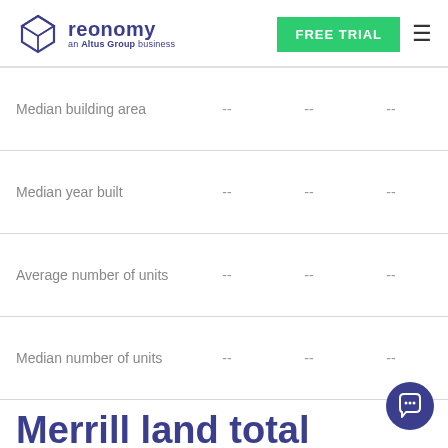reonomy — an Altus Group business | FREE TRIAL
|  | Col1 | Col2 | Col3 |
| --- | --- | --- | --- |
| Median building area | -- | -- | -- |
| Median year built | -- | -- | -- |
| Average number of units | -- | -- | -- |
| Median number of units | -- | -- | -- |
Merrill land total